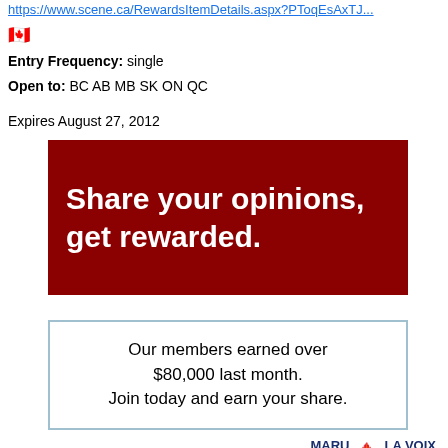https://www.scene.ca/RewardsItemDetails.aspx?PToqEsAxTJ...
[Figure (illustration): Canadian flag emoji]
Entry Frequency: single
Open to: BC AB MB SK ON QC
Expires August 27, 2012
[Figure (infographic): Dark red banner with white text: Share your opinions, get rewarded.]
[Figure (infographic): Box with border: Our members earned over $80,000 last month. Join today and earn your share.]
[Figure (logo): Maru Voice / La Voix Maru logo with maple leaf]